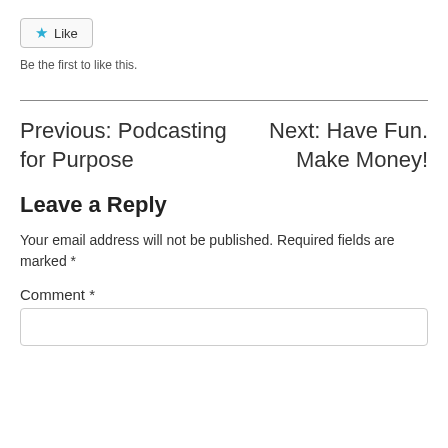[Figure (other): Like button with star icon]
Be the first to like this.
Previous: Podcasting for Purpose
Next: Have Fun. Make Money!
Leave a Reply
Your email address will not be published. Required fields are marked *
Comment *